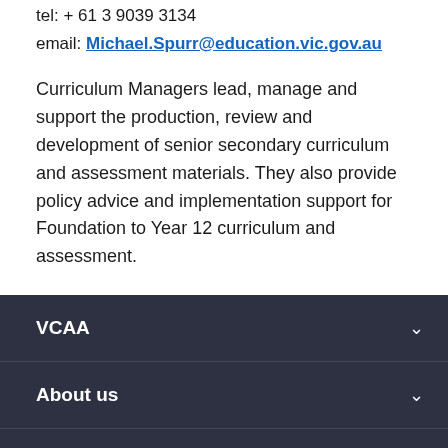tel: + 61 3 9039 3134
email: Michael.Spurr@education.vic.gov.au
Curriculum Managers lead, manage and support the production, review and development of senior secondary curriculum and assessment materials. They also provide policy advice and implementation support for Foundation to Year 12 curriculum and assessment.
VCAA
About us
News & events
Contact us